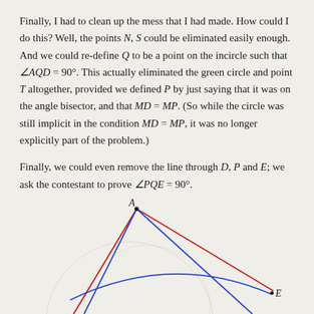Finally, I had to clean up the mess that I had made. How could I do this? Well, the points N, S could be eliminated easily enough. And we could re-define Q to be a point on the incircle such that ∠AQD = 90°. This actually eliminated the green circle and point T altogether, provided we defined P by just saying that it was on the angle bisector, and that MD = MP. (So while the circle was still implicit in the condition MD = MP, it was no longer explicitly part of the problem.)
Finally, we could even remove the line through D, P and E; we ask the contestant to prove ∠PQE = 90°.
[Figure (illustration): Geometric diagram showing a triangle with vertex A at top, lines drawn in red and blue, a blue arc (incircle or related circle) near the bottom, and point E labeled at bottom right of the arc. The background has faint circle outlines.]